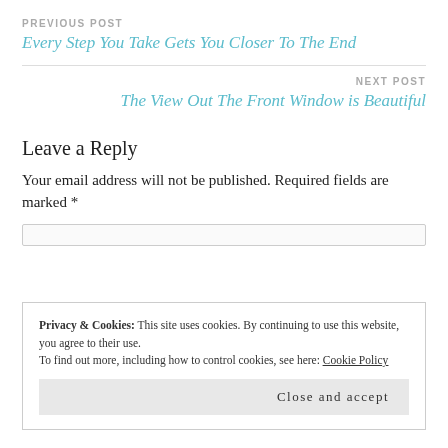PREVIOUS POST
Every Step You Take Gets You Closer To The End
NEXT POST
The View Out The Front Window is Beautiful
Leave a Reply
Your email address will not be published. Required fields are marked *
Privacy & Cookies: This site uses cookies. By continuing to use this website, you agree to their use. To find out more, including how to control cookies, see here: Cookie Policy
Close and accept